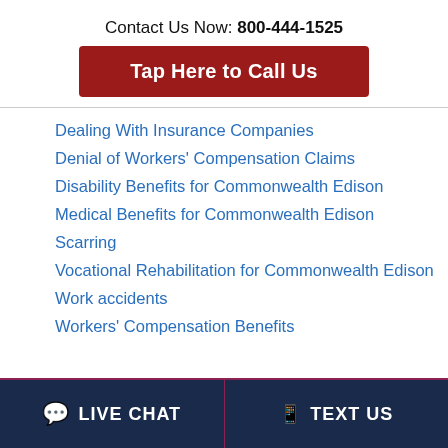Contact Us Now: 800-444-1525
Tap Here to Call Us
Dealing With Insurance Companies
Denial of Workers' Compensation Claims
Disability Benefits for Commonwealth Edison
Medical Benefits for Commonwealth Edison
Scarring
Vocational Rehabilitation for Commonwealth Edison
Work accidents
Workers' Compensation Benefits
LIVE CHAT   TEXT US